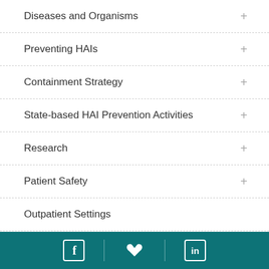Diseases and Organisms
Preventing HAIs
Containment Strategy
State-based HAI Prevention Activities
Research
Patient Safety
Outpatient Settings
Laboratory Resources
Social media links: Facebook, Twitter, LinkedIn